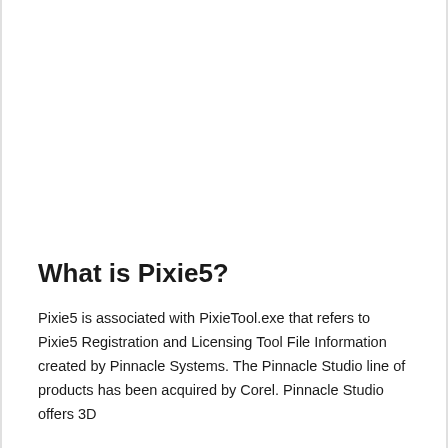What is Pixie5?
Pixie5 is associated with PixieTool.exe that refers to Pixie5 Registration and Licensing Tool File Information created by Pinnacle Systems. The Pinnacle Studio line of products has been acquired by Corel. Pinnacle Studio offers 3D